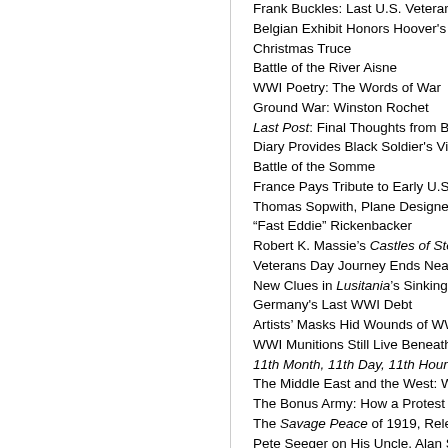Frank Buckles: Last U.S. Veteran of Worl…
Belgian Exhibit Honors Hoover's WWI Effe…
Christmas Truce
Battle of the River Aisne
WWI Poetry: The Words of War
Ground War: Winston Rochet
Last Post: Final Thoughts from Britain's W…
Diary Provides Black Soldier's View of WW…
Battle of the Somme
France Pays Tribute to Early U.S. Fighter…
Thomas Sopwith, Plane Designer
“Fast Eddie” Rickenbacker
Robert K. Massie’s Castles of Steel
Veterans Day Journey Ends Near WWI Tr…
New Clues in Lusitania’s Sinking
Germany's Last WWI Debt
Artists’ Masks Hid Wounds of WWI Soldie…
WWI Munitions Still Live Beneath Westerm…
11th Month, 11th Day, 11th Hour
The Middle East and the West: WWI and I…
The Bonus Army: How a Protest Led to th…
The Savage Peace of 1919, Relevant Tod…
Pete Seeger on His Uncle, Alan Seeger
Reviews/Praise